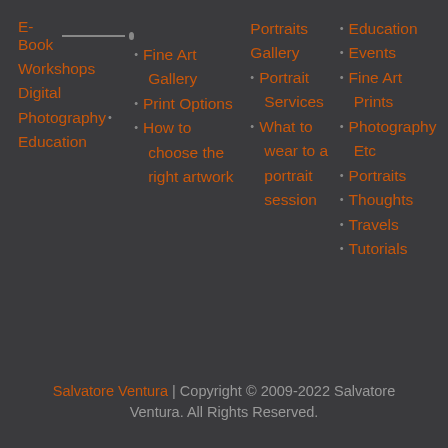E-Book
Workshops
Digital Photography
Education
Fine Art Gallery
Print Options
How to choose the right artwork
Portraits Gallery
Portrait Services
What to wear to a portrait session
Education
Events
Fine Art Prints
Photography Etc
Portraits
Thoughts
Travels
Tutorials
Salvatore Ventura | Copyright © 2009-2022 Salvatore Ventura. All Rights Reserved.